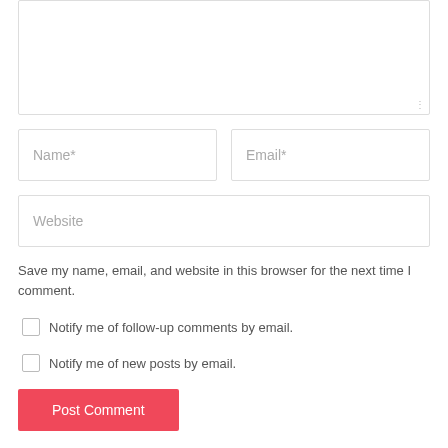[Figure (screenshot): A comment form with a large textarea at top (partially visible), Name* and Email* input fields side by side, a Website input field below, a save browser info checkbox text, two checkboxes for email notifications, and a red Post Comment button.]
Save my name, email, and website in this browser for the next time I comment.
Notify me of follow-up comments by email.
Notify me of new posts by email.